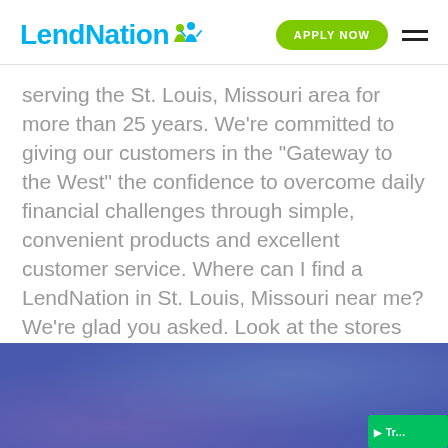LendNation
serving the St. Louis, Missouri area for more than 25 years. We're committed to giving our customers in the "Gateway to the West" the confidence to overcome daily financial challenges through simple, convenient products and excellent customer service. Where can I find a LendNation in St. Louis, Missouri near me? We're glad you asked. Look at the stores above to get cash fast with instant debit card funding.
[Figure (illustration): Gradient background section at bottom of page in purple and blue tones, with a green badge partially visible in the bottom right corner.]